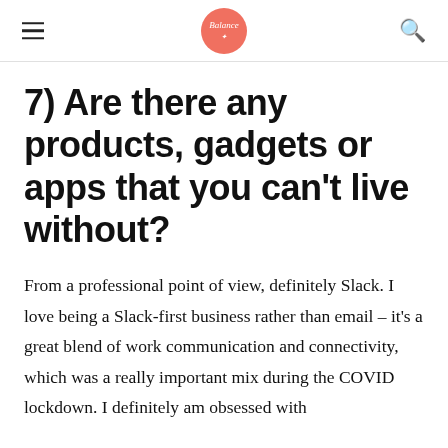Balance (logo)
7) Are there any products, gadgets or apps that you can't live without?
From a professional point of view, definitely Slack. I love being a Slack-first business rather than email – it's a great blend of work communication and connectivity, which was a really important mix during the COVID lockdown. I definitely am obsessed with